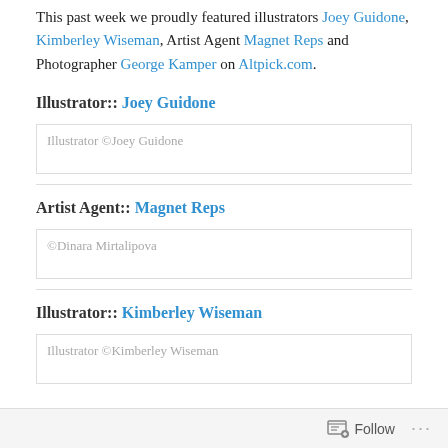This past week we proudly featured illustrators Joey Guidone, Kimberley Wiseman, Artist Agent Magnet Reps and Photographer George Kamper on Altpick.com.
Illustrator:: Joey Guidone
Illustrator ©Joey Guidone
Artist Agent:: Magnet Reps
©Dinara Mirtalipova
Illustrator:: Kimberley Wiseman
Illustrator ©Kimberley Wiseman
Follow